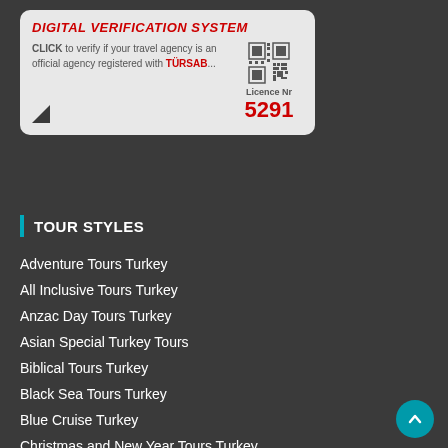[Figure (other): Digital Verification System badge showing TÜRSAB licence number 5291 with QR code]
TOUR STYLES
Adventure Tours Turkey
All Inclusive Tours Turkey
Anzac Day Tours Turkey
Asian Special Turkey Tours
Biblical Tours Turkey
Black Sea Tours Turkey
Blue Cruise Turkey
Christmas and New Year Tours Turkey
City Packages Turkey